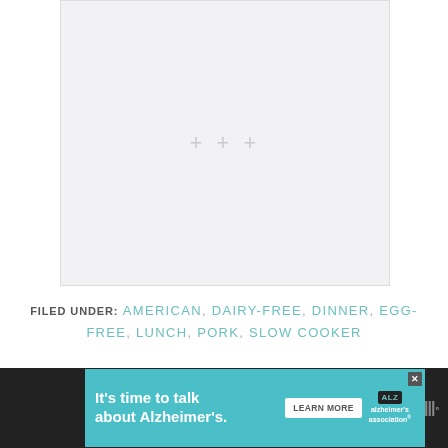[Figure (photo): Large image placeholder area with light gray background]
FILED UNDER: AMERICAN, DAIRY-FREE, DINNER, EGG-FREE, LUNCH, PORK, SLOW COOKER
[Figure (other): Advertisement banner: It's time to talk about Alzheimer's. LEARN MORE. Alzheimer's Association logo.]